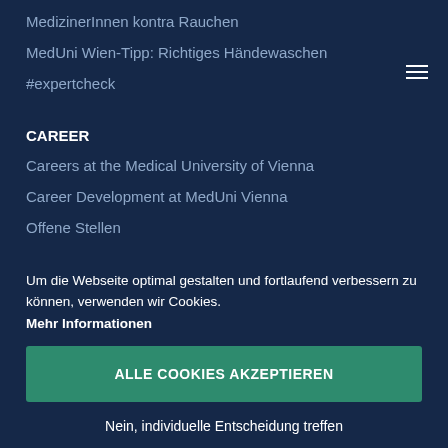MedizinerInnen kontra Rauchen
MedUni Wien-Tipp: Richtiges Händewaschen
#expertcheck
CAREER
Careers at the Medical University of Vienna
Career Development at MedUni Vienna
Offene Stellen
Um die Webseite optimal gestalten und fortlaufend verbessern zu können, verwenden wir Cookies. Mehr Informationen
ALLE COOKIES AKZEPTIEREN
Nein, individuelle Entscheidung treffen